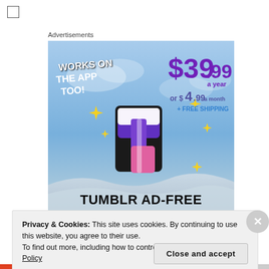[Figure (illustration): Tumblr Ad-Free Browsing advertisement banner. Sky blue background with the Tumblr 't' logo (pink and purple 3D style) with yellow sparkle stars. Text reads 'WORKS ON THE APP TOO!' in white bold italic, '$39.99 a year or $4.99 a month + FREE SHIPPING' in purple, and 'TUMBLR AD-FREE BROWSING' in large black bold text at the bottom.]
Advertisements
Privacy & Cookies: This site uses cookies. By continuing to use this website, you agree to their use.
To find out more, including how to control cookies, see here: Cookie Policy
Close and accept